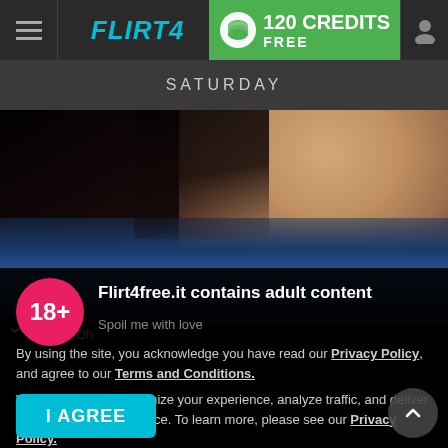FLIRT4FREE — 120 CREDITS FREE
SATURDAY
[Figure (photo): Close-up photo of a woman with dark hair wearing a blue top, profile/partial view]
Mandy Oh
Flirt4free.it contains adult content
Spoil me with love
By using the site, you acknowledge you have read our Privacy Policy, and agree to our Terms and Conditions.
We use cookies to optimize your experience, analyze traffic, and deliver more personalized service. To learn more, please see our Privacy Policy.
I AGREE